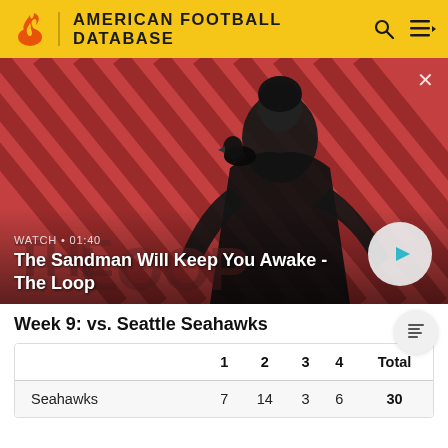AMERICAN FOOTBALL DATABASE
[Figure (screenshot): Video banner showing promotional image for 'The Sandman Will Keep You Awake - The Loop' with WATCH • 01:40 label and play button]
Week 9: vs. Seattle Seahawks
|  | 1 | 2 | 3 | 4 | Total |
| --- | --- | --- | --- | --- | --- |
| Seahawks | 7 | 14 | 3 | 6 | 30 |